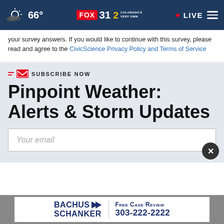66° FOX 31 2 COLORADO'S VERY OWN • LIVE
your survey answers. If you would like to continue with this survey, please read and agree to the CivicScience Privacy Policy and Terms of Service
SUBSCRIBE NOW
Pinpoint Weather: Alerts & Storm Updates
Your email
[Figure (other): Advertisement banner for Bachus Schanker law firm with text: BACHUS SCHANKER, Free Case Review, 303-222-2222]